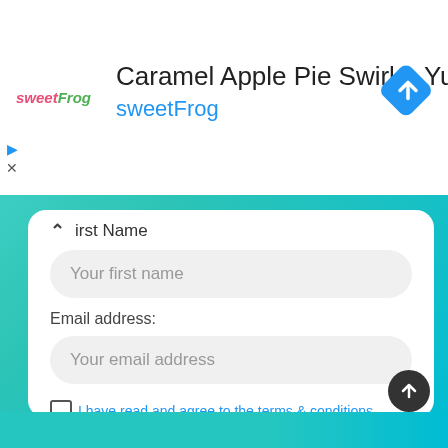[Figure (logo): sweetFrog logo with sweet in pink italic and Frog in green italic]
Caramel Apple Pie Swirl = Yum
sweetFrog
[Figure (other): Blue diamond navigation arrow icon]
First Name
Your first name
Email address:
Your email address
I have read and agree to the terms & conditions
Sign up